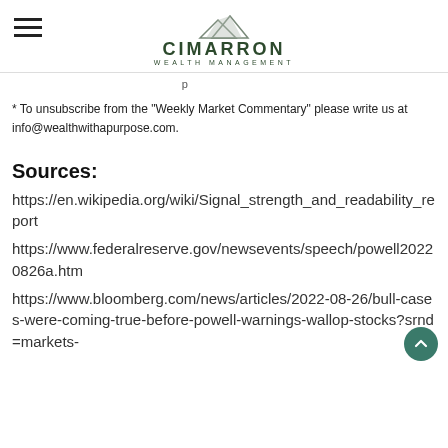CIMARRON WEALTH MANAGEMENT
* To unsubscribe from the "Weekly Market Commentary" please write us at info@wealthwithapurpose.com.
Sources:
https://en.wikipedia.org/wiki/Signal_strength_and_readability_report
https://www.federalreserve.gov/newsevents/speech/powell20220826a.htm
https://www.bloomberg.com/news/articles/2022-08-26/bull-cases-were-coming-true-before-powell-warnings-wallop-stocks?srnd=markets-